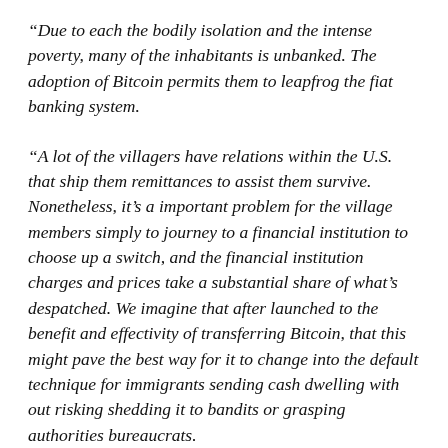“Due to each the bodily isolation and the intense poverty, many of the inhabitants is unbanked. The adoption of Bitcoin permits them to leapfrog the fiat banking system.
“A lot of the villagers have relations within the U.S. that ship them remittances to assist them survive. Nonetheless, it’s a important problem for the village members simply to journey to a financial institution to choose up a switch, and the financial institution charges and prices take a substantial share of what’s despatched. We imagine that after launched to the benefit and effectivity of transferring Bitcoin, that this might pave the best way for it to change into the default technique for immigrants sending cash dwelling with out risking shedding it to bandits or grasping authorities bureaucrats.
“Due to the latest inflow of journey vacationers, the